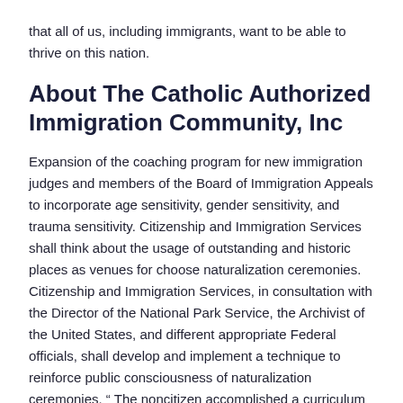that all of us, including immigrants, want to be able to thrive on this nation.
About The Catholic Authorized Immigration Community, Inc
Expansion of the coaching program for new immigration judges and members of the Board of Immigration Appeals to incorporate age sensitivity, gender sensitivity, and trauma sensitivity. Citizenship and Immigration Services shall think about the usage of outstanding and historic places as venues for choose naturalization ceremonies. Citizenship and Immigration Services, in consultation with the Director of the National Park Service, the Archivist of the United States, and different appropriate Federal officials, shall develop and implement a technique to reinforce public consciousness of naturalization ceremonies. “ The noncitizen accomplished a curriculum that displays